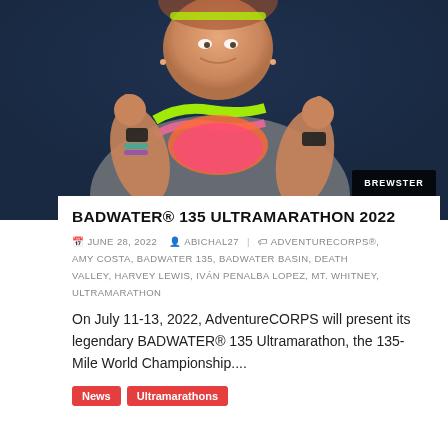[Figure (photo): A runner giving thumbs up, wearing a neon vest and running gear at night. Dark blue background. BREWSTER logo/badge in lower right corner.]
BADWATER® 135 ULTRAMARATHON 2022
JUNE 28, 2022   ABICHAL27   ADVENTURECORPS®, AMY COSTA, BADWATER 135, BADWATER BASIN, DEATH VALLEY, HARVEY LEWIS, IVÁN PENALBA LOPEZ, MT. WHITNEY, ULTRAMARATHON
On July 11-13, 2022, AdventureCORPS will present its legendary BADWATER® 135 Ultramarathon, the 135-Mile World Championship....
News
Ultramarathons